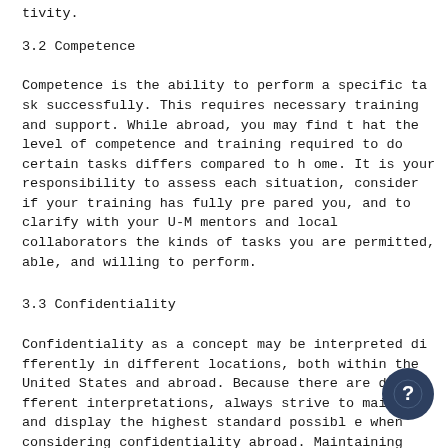tivity.
3.2 Competence
Competence is the ability to perform a specific task successfully. This requires necessary training and support. While abroad, you may find that the level of competence and training required to do certain tasks differs compared to home. It is your responsibility to assess each situation, consider if your training has fully prepared you, and to clarify with your U-M mentors and local collaborators the kinds of tasks you are permitted, able, and willing to perform.
3.3 Confidentiality
Confidentiality as a concept may be interpreted differently in different locations, both within the United States and abroad. Because there are different interpretations, always strive to maintain and display the highest standard possible when considering confidentiality abroad. Maintaining confidentiality can aid in gaining st from colleagues and the community in which